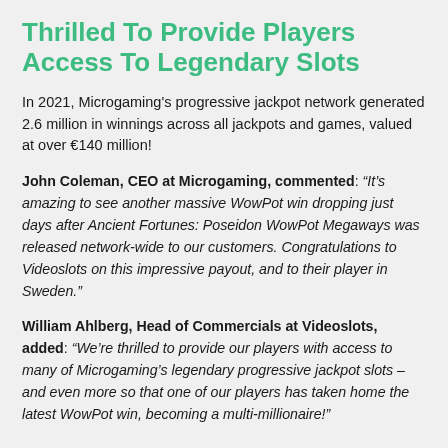Thrilled To Provide Players Access To Legendary Slots
In 2021, Microgaming's progressive jackpot network generated 2.6 million in winnings across all jackpots and games, valued at over €140 million!
John Coleman, CEO at Microgaming, commented: “It’s amazing to see another massive WowPot win dropping just days after Ancient Fortunes: Poseidon WowPot Megaways was released network-wide to our customers. Congratulations to Videoslots on this impressive payout, and to their player in Sweden.”
William Ahlberg, Head of Commercials at Videoslots, added: “We’re thrilled to provide our players with access to many of Microgaming’s legendary progressive jackpot slots – and even more so that one of our players has taken home the latest WowPot win, becoming a multi-millionaire!”